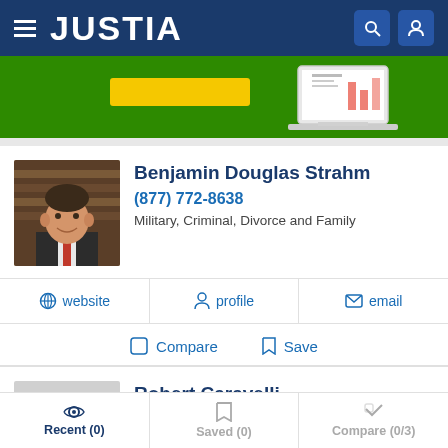JUSTIA
[Figure (screenshot): Justia website banner with green background, yellow button, and laptop illustration]
Benjamin Douglas Strahm
(877) 772-8638
Military, Criminal, Divorce and Family
website  profile  email
Compare  Save
Robert Caravelli
(765) 472-3121
Military, Criminal, Divorce and Family
Recent (0)  Saved (0)  Compare (0/3)